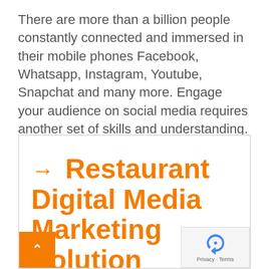There are more than a billion people constantly connected and immersed in their mobile phones Facebook, Whatsapp, Instagram, Youtube, Snapchat and many more. Engage your audience on social media requires another set of skills and understanding. Nowadays social media is the powerful platform to get the products popular is viral & we can see the immediate effect.
→ Restaurant Digital Media Marketing Solution